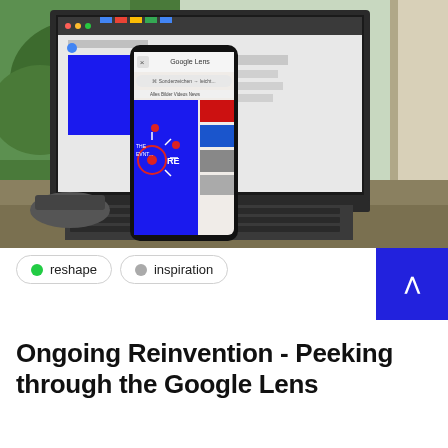[Figure (photo): Photo of a smartphone displaying Google Lens with search results overlaid on a blue graphic, placed in front of an open laptop showing a webpage with colorful blocks. Both devices are on a desk near a window with green trees visible outside.]
reshape
inspiration
Ongoing Reinvention - Peeking through the Google Lens